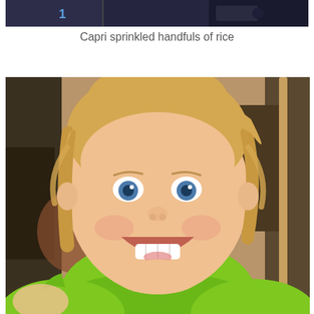[Figure (photo): Partial top image showing a dark background with a blue number '1' visible on the left side]
Capri sprinkled handfuls of rice
[Figure (photo): Close-up photo of a smiling toddler girl with blonde hair and blue eyes wearing a green top, holding a stick]